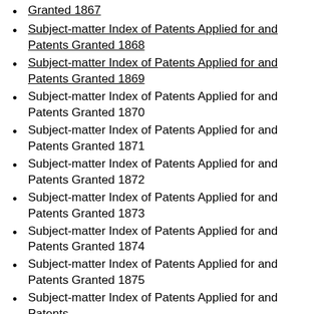Granted 1867
Subject-matter Index of Patents Applied for and Patents Granted 1868
Subject-matter Index of Patents Applied for and Patents Granted 1869
Subject-matter Index of Patents Applied for and Patents Granted 1870
Subject-matter Index of Patents Applied for and Patents Granted 1871
Subject-matter Index of Patents Applied for and Patents Granted 1872
Subject-matter Index of Patents Applied for and Patents Granted 1873
Subject-matter Index of Patents Applied for and Patents Granted 1874
Subject-matter Index of Patents Applied for and Patents Granted 1875
Subject-matter Index of Patents Applied for and Patents